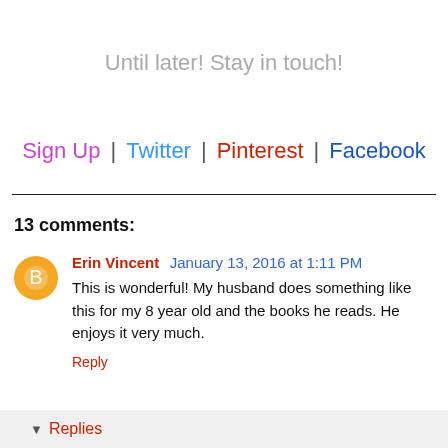Until later! Stay in touch!
Sign Up | Twitter | Pinterest | Facebook
13 comments:
Erin Vincent January 13, 2016 at 1:11 PM
This is wonderful! My husband does something like this for my 8 year old and the books he reads. He enjoys it very much.
Reply
Replies